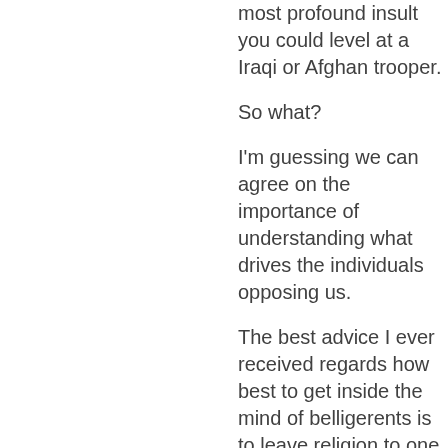most profound insult you could level at a Iraqi or Afghan trooper.
So what?
I'm guessing we can agree on the importance of understanding what drives the individuals opposing us.
The best advice I ever received regards how best to get inside the mind of belligerents is to leave religion to one side and frame the motivational mindset of the combatants as essentially farm-laborers eking a living with guns, hillbilly explosives, clapped out pickups and cell-